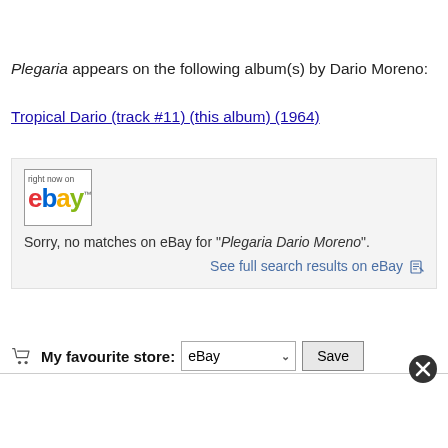Plegaria appears on the following album(s) by Dario Moreno:
Tropical Dario (track #11) (this album) (1964)
[Figure (screenshot): eBay widget box showing 'right now on eBay' logo and a message: Sorry, no matches on eBay for "Plegaria Dario Moreno". With a link: See full search results on eBay]
My favourite store: eBay [dropdown] Save